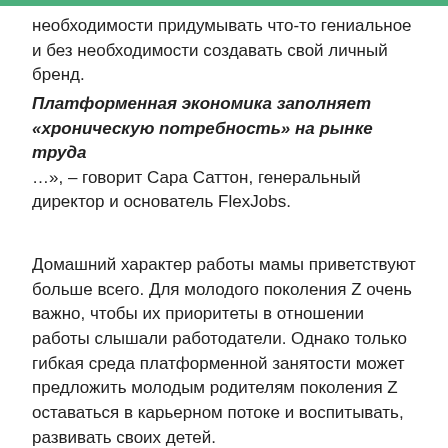необходимости придумывать что-то гениальное и без необходимости создавать свой личный бренд.
Платформенная экономика заполняет «хроническую потребность» на рынке труда
…», – говорит Сара Саттон, генеральный директор и основатель FlexJobs.
Домашний характер работы мамы приветствуют больше всего. Для молодого поколения Z очень важно, чтобы их приоритеты в отношении работы слышали работодатели. Однако только гибкая среда платформенной занятости может предложить молодым родителям поколения Z оставаться в карьерном потоке и воспитывать, развивать своих детей.
«Я очень, очень хотела быть для них дома. Если